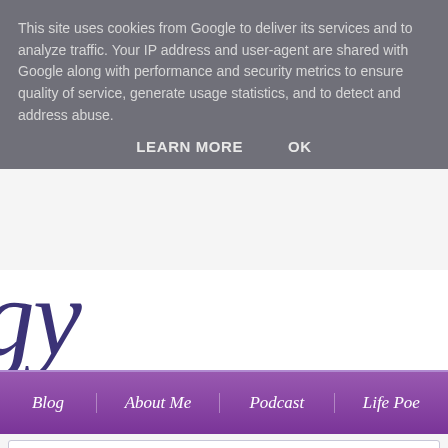This site uses cookies from Google to deliver its services and to analyze traffic. Your IP address and user-agent are shared with Google along with performance and security metrics to ensure quality of service, generate usage statistics, and to detect and address abuse.
LEARN MORE   OK
[Figure (illustration): Partial script/cursive blog logo text visible behind the cookie overlay, dark navy cursive lettering on light background]
Blog   About Me   Podcast   Life Poe…
Saturday, 8 May 2021
PH Vs London 10K
Dear Readers,
On 10th April, the PHA UK gave the opportunity for 10 supporters to Wal… with a FREE place in the virtual Vitality London 10,000. The supporters h…